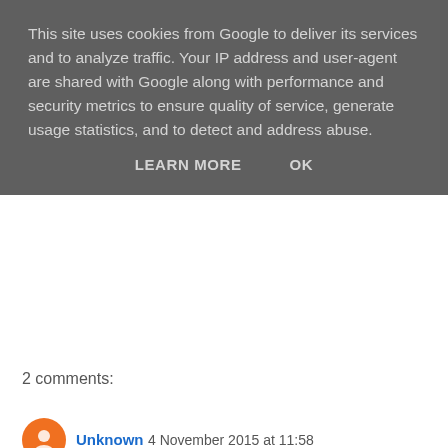This site uses cookies from Google to deliver its services and to analyze traffic. Your IP address and user-agent are shared with Google along with performance and security metrics to ensure quality of service, generate usage statistics, and to detect and address abuse.
LEARN MORE   OK
2 comments:
Unknown  4 November 2015 at 11:58
I needed to google/translate the word "preparatory", but YES - you're right! Things are about to change.
Recently I used this slide (http://imgur.com/O7hsZML) in a talk, just to illustrate how small DDD and SSYS are compared to what will move into the market. And others are lining up.
Another thought: I find it particularly interesting how highly specialised owner-operated businesses like Concept Laser GmbH, EOS GmbH or FIT AG seem to thrive, while those